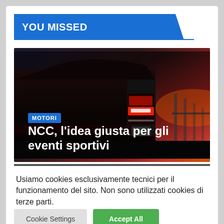YOU MISSED
[Figure (photo): Dark luxury car rear tail light, close-up photo with bokeh background at dusk]
MOTORI
NCC, l'idea giusta per gli eventi sportivi
SET 1, 2022   GREY
Usiamo cookies esclusivamente tecnici per il funzionamento del sito. Non sono utilizzati cookies di terze parti.
Cookie Settings   Accept All